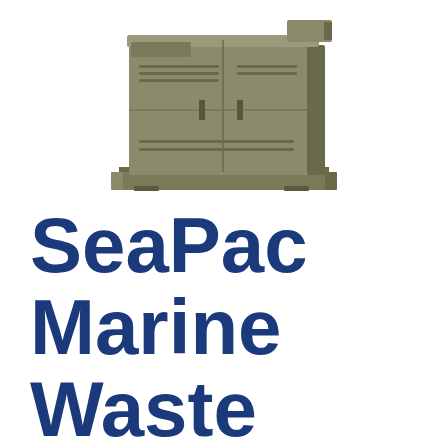[Figure (photo): A marine waste compactor unit — a boxy olive-green/khaki colored industrial machine with a control panel on top and a wide base, shown from a slightly elevated front-right angle on a white background.]
SeaPac Marine Waste Compactor